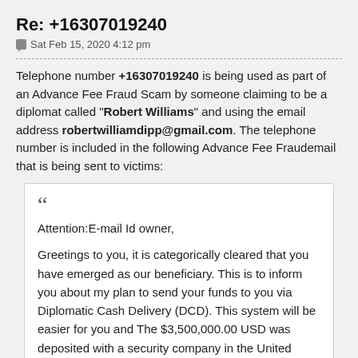Re: +16307019240
Sat Feb 15, 2020 4:12 pm
Telephone number +16307019240 is being used as part of an Advance Fee Fraud Scam by someone claiming to be a diplomat called "Robert Williams" and using the email address robertwilliamdipp@gmail.com. The telephone number is included in the following Advance Fee Fraudemail that is being sent to victims:
Attention:E-mail Id owner,

Greetings to you, it is categorically cleared that you have emerged as our beneficiary. This is to inform you about my plan to send your funds to you via Diplomatic Cash Delivery (DCD). This system will be easier for you and The $3,500,000.00 USD was deposited with a security company in the United Kingdom for security reasons and better protection of the funds. I am going to send your donation amount of ($3,500,000.00USD). To you via...